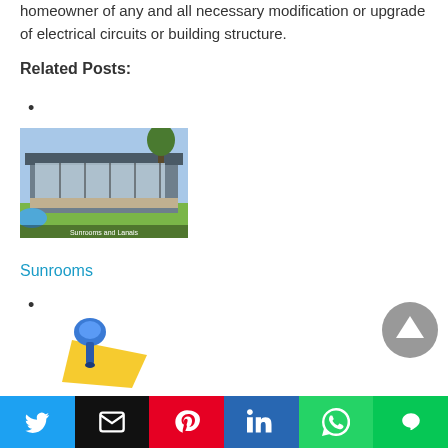homeowner of any and all necessary modification or upgrade of electrical circuits or building structure.
Related Posts:
•
[Figure (photo): Exterior photo of a modern sunroom addition to a house with large windows, patio furniture, and green lawn]
Sunrooms
•
[Figure (illustration): Blue pushpin icon with yellow sticky note/paper underneath]
[Figure (illustration): Grey circular scroll-to-top button with upward triangle arrow]